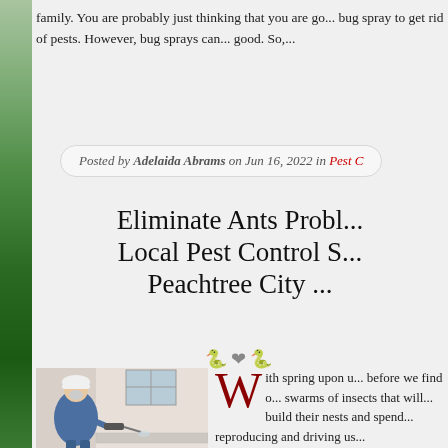family. You are probably just thinking that you are going to use bug spray to get rid of pests. However, bug sprays can do more harm than good. So,...
Posted by Adelaida Abrams on Jun 16, 2022 in Pest C
Eliminate Ants Probl... Local Pest Control S... Peachtree City...
[Figure (photo): A pest control worker in white hard hat and blue overalls spraying pesticide near a wall.]
With spring upon u... before we find o... swarms of insects that will... build their nests and spend... reproducing and driving us...